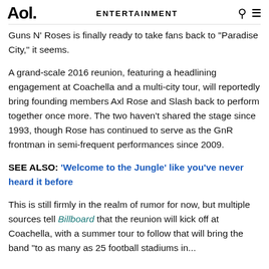Aol. | ENTERTAINMENT
Guns N' Roses is finally ready to take fans back to "Paradise City," it seems.
A grand-scale 2016 reunion, featuring a headlining engagement at Coachella and a multi-city tour, will reportedly bring founding members Axl Rose and Slash back to perform together once more. The two haven't shared the stage since 1993, though Rose has continued to serve as the GnR frontman in semi-frequent performances since 2009.
SEE ALSO: 'Welcome to the Jungle' like you've never heard it before
This is still firmly in the realm of rumor for now, but multiple sources tell Billboard that the reunion will kick off at Coachella, with a summer tour to follow that will bring the band "to as many as 25 football stadiums in..."